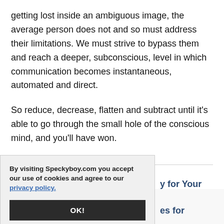getting lost inside an ambiguous image, the average person does not and so must address their limitations. We must strive to bypass them and reach a deeper, subconscious, level in which communication becomes instantaneous, automated and direct.
So reduce, decrease, flatten and subtract until it's able to go through the small hole of the conscious mind, and you'll have won.
Related Posts
By visiting Speckyboy.com you accept our use of cookies and agree to our privacy policy.
OK!
y for Your
es for
s. Here's